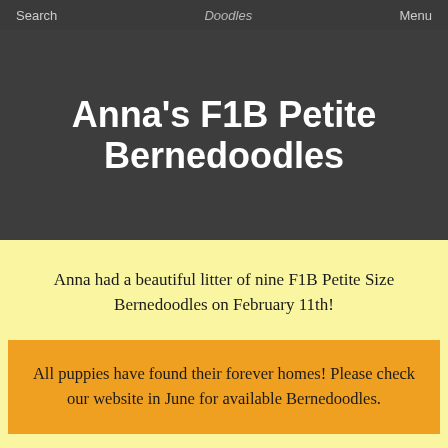Search   Doodles   Menu
Anna's F1B Petite Bernedoodles
Anna had a beautiful litter of nine F1B Petite Size Bernedoodles on February 11th!
All puppies have found their forever homes! Please check our website in June for available Bernedoodles.